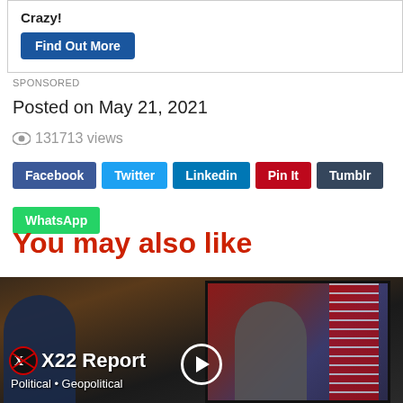Crazy!
Find Out More
SPONSORED
Posted on May 21, 2021
131713 views
Facebook
Twitter
Linkedin
Pin It
Tumblr
WhatsApp
You may also like
[Figure (screenshot): X22 Report video thumbnail showing a person watching a TV screen with a political figure (Biden) speaking, with 'X22 Report — Political • Geopolitical' text overlay and a play button]